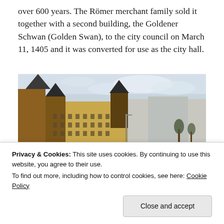over 600 years. The Römer merchant family sold it together with a second building, the Goldener Schwan (Golden Swan), to the city council on March 11, 1405 and it was converted for use as the city hall.
[Figure (photo): Street-level photograph of the Römer building (Frankfurt city hall), a historic multi-turreted medieval building with Gothic and Renaissance architectural details, viewed from a square. Buildings, street lights, vehicles, and trees are visible in the background under an overcast sky.]
Privacy & Cookies: This site uses cookies. By continuing to use this website, you agree to their use.
To find out more, including how to control cookies, see here: Cookie Policy